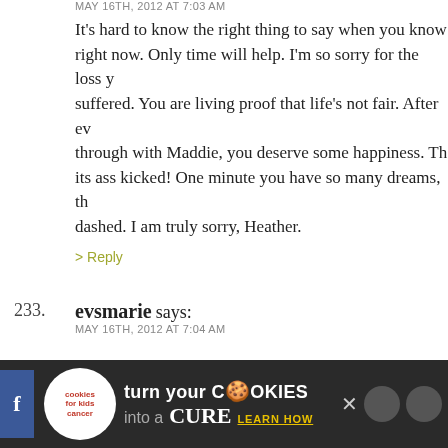MAY 16TH, 2012 AT 7:03 AM
It's hard to know the right thing to say when you know right now. Only time will help. I'm so sorry for the loss you suffered. You are living proof that life's not fair. After everything through with Maddie, you deserve some happiness. The its ass kicked! One minute you have so many dreams, then dashed. I am truly sorry, Heather.
> Reply
233. evsmarie says: MAY 16TH, 2012 AT 7:04 AM
So very, very sorry. Thinking about you and sending love your way.
> Reply
234. Charlene says: MAY 16TH, 2012 AT 7:05 AM
I am so sorry.....words can't express the deep sympathy
[Figure (screenshot): Advertisement bar for 'cookies for kids cancer' — turn your cookies into a CURE, LEARN HOW]